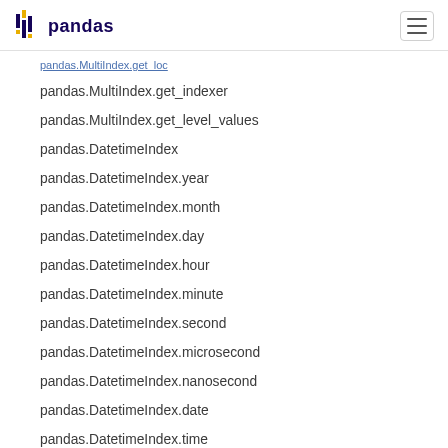pandas
pandas.MultiIndex.get_indexer
pandas.MultiIndex.get_level_values
pandas.DatetimeIndex
pandas.DatetimeIndex.year
pandas.DatetimeIndex.month
pandas.DatetimeIndex.day
pandas.DatetimeIndex.hour
pandas.DatetimeIndex.minute
pandas.DatetimeIndex.second
pandas.DatetimeIndex.microsecond
pandas.DatetimeIndex.nanosecond
pandas.DatetimeIndex.date
pandas.DatetimeIndex.time